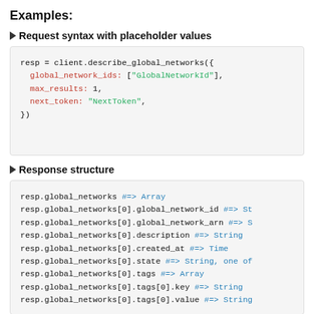Examples:
► Request syntax with placeholder values
resp = client.describe_global_networks({
  global_network_ids: ["GlobalNetworkId"],
  max_results: 1,
  next_token: "NextToken",
})
► Response structure
resp.global_networks #=> Array
resp.global_networks[0].global_network_id #=> St
resp.global_networks[0].global_network_arn #=> S
resp.global_networks[0].description #=> String
resp.global_networks[0].created_at #=> Time
resp.global_networks[0].state #=> String, one of
resp.global_networks[0].tags #=> Array
resp.global_networks[0].tags[0].key #=> String
resp.global_networks[0].tags[0].value #=> String